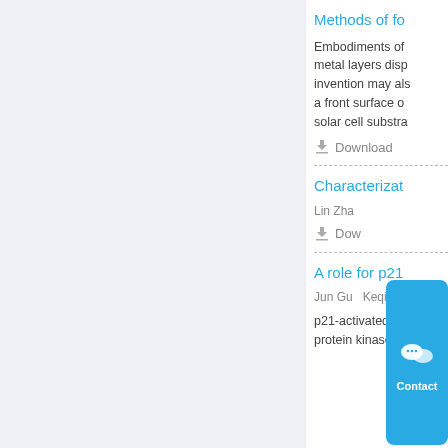Methods of fo...
Embodiments of... metal layers disp... invention may als... a front surface o... solar cell substra...
Download
Characterizat...
Lin Zha...
Dow...
[Figure (other): WeChat Contact popup button with WeChat logo icon and 'Contact' label on cyan/blue background]
A role for p21...
Jun Gu   Keqiang L...
p21-activated ki... protein kinases...